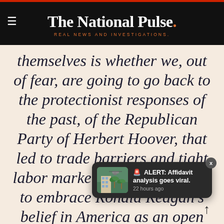The National Pulse. REAL NEWS AND INVESTIGATIONS.
themselves is whether we, out of fear, are going to go back to the protectionist responses of the past, of the Republican Party of Herbert Hoover, that led to trade barriers and tight labor markets, or are we going to embrace Ronald Reagan's belief in America as an open and free economy that thrives thanks to the contributions of immigrants. Are we g... or the party of Hoover?
[Figure (screenshot): Notification popup overlay: thumbnail image of a building with palm trees, alert icon, text '🚨 ALERT: Affidavit analysis goes viral.' and '22 hours ago']